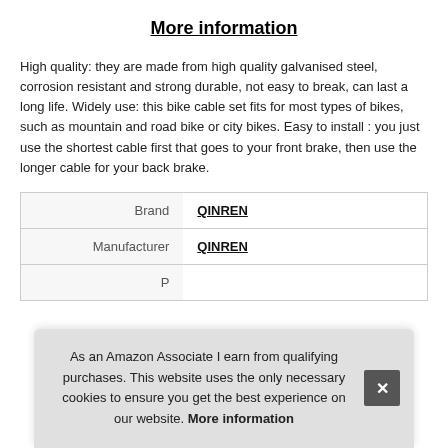More information
High quality: they are made from high quality galvanised steel, corrosion resistant and strong durable, not easy to break, can last a long life. Widely use: this bike cable set fits for most types of bikes, such as mountain and road bike or city bikes. Easy to install : you just use the shortest cable first that goes to your front brake, then use the longer cable for your back brake.
|  |  |
| --- | --- |
| Brand | QINREN |
| Manufacturer | QINREN |
| P |  |
As an Amazon Associate I earn from qualifying purchases. This website uses the only necessary cookies to ensure you get the best experience on our website. More information